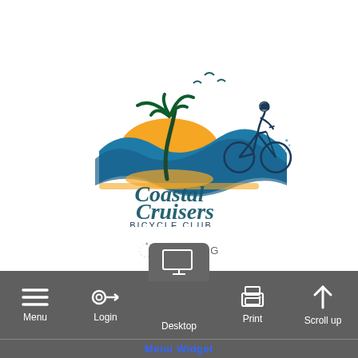[Figure (logo): Coastal Cruisers Bicycle Club logo: palm tree, sun, ocean wave, cyclist, birds, with script text 'Coastal Cruisers' and 'BICYCLE CLUB']
LOADING
Login / Profile
Login / Profile
[Figure (screenshot): Bottom navigation bar with icons: Menu (hamburger), Login (key), Desktop (monitor), Print (printer), Scroll up (arrow up). Below bar shows 'Menu Widget' text in blue.]